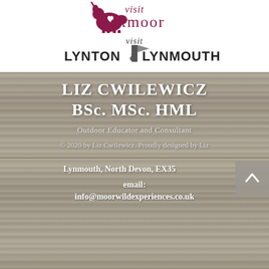[Figure (logo): Visit Exmoor logo with pink/magenta deer silhouette and cursive 'visit' + 'exmoor' text]
[Figure (logo): Visit Lynton & Lynmouth logo with black bold text and white flag/shield icon]
LIZ CWILEWICZ BSc. MSc. HML
Outdoor Educator and Consultant
© 2020 by Liz Cwilewicz. Proudly designed by Liz
Lynmouth, North Devon, EX35
email: info@moorwildexperiences.co.uk